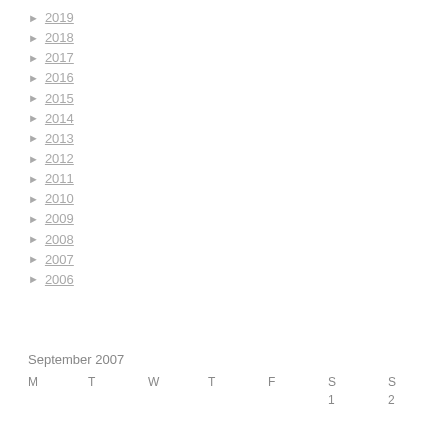► 2019
► 2018
► 2017
► 2016
► 2015
► 2014
► 2013
► 2012
► 2011
► 2010
► 2009
► 2008
► 2007
► 2006
| M | T | W | T | F | S | S |
| --- | --- | --- | --- | --- | --- | --- |
|  |  |  |  |  | 1 | 2 |